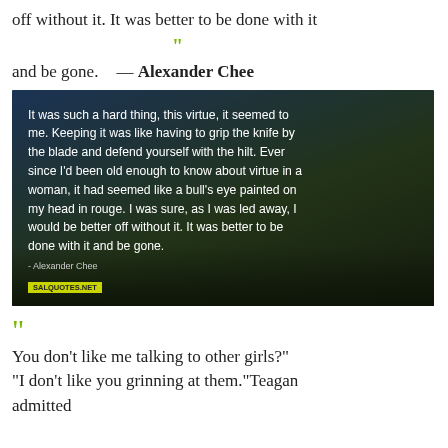off without it. It was better to be done with it and be gone." — Alexander Chee
[Figure (photo): Dark photograph of a large historic building/mosque with crowds of people, overlaid with white text of a quote by Alexander Chee about virtue]
“ You don’t like me talking to other girls?" "I don’t like you grinning at them."Teagan admitted